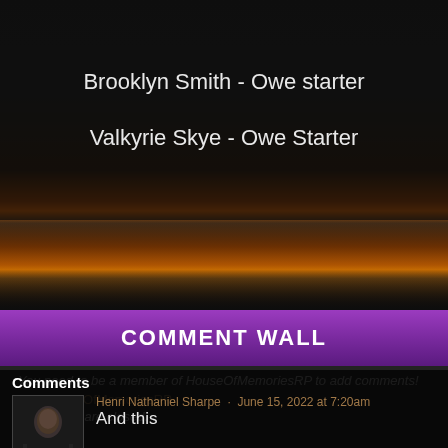Brooklyn Smith - Owe starter
Valkyrie Skye - Owe Starter
COMMENT WALL
You need to be a member of HouseOfMemoriesRP to add comments!
Join HouseOfMemoriesRP
Comments are closed.
Comments
Henri Nathaniel Sharpe · June 15, 2022 at 7:20am
And this